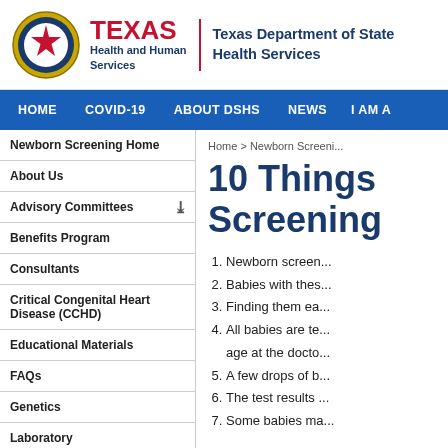[Figure (logo): Texas Health and Human Services seal/logo with Texas star emblem and Texas Department of State Health Services name]
Texas Health and Human Services | Texas Department of State Health Services
HOME  COVID-19  ABOUT DSHS  NEWS  I AM A
Newborn Screening Home
About Us
Advisory Committees
Benefits Program
Consultants
Critical Congenital Heart Disease (CCHD)
Educational Materials
FAQs
Genetics
Laboratory
Newborn Hearing (TEHDI)
Home > Newborn Screeni...
10 Things Screening
1. Newborn screen...
2. Babies with thes...
3. Finding them ea...
4. All babies are te... age at the docto...
5. A few drops of b...
6. The test results ...
7. Some babies ma...